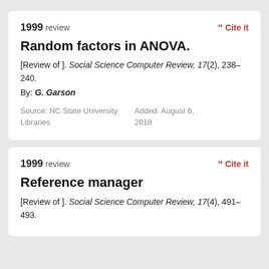1999 review
Cite it
Random factors in ANOVA.
[Review of ]. Social Science Computer Review, 17(2), 238–240.
By: G. Garson
Source: NC State University Libraries
Added: August 6, 2018
1999 review
Cite it
Reference manager
[Review of ]. Social Science Computer Review, 17(4), 491–493.